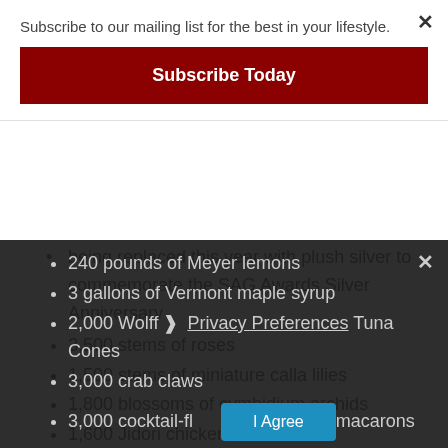Subscribe to our mailing list for the best in your lifestyle.
Subscribe Today
being replaced this year with plush silver to commemorate the SAG Awards Silver Anniversary
3,500 stems of roses
1,500 stems of miniature calla lilies
1,800 blossoms of cymbidium orchids
1,600 Jidori chicken breasts
450 pounds of Scottish farm salmon
3000 endive leaves
240 pounds of Meyer lemons
3 gallons of Vermont maple syrup
2,000 Wolff... Tuna Cones
3,000 crab claws
3,000 cocktail-fl... macarons
300 pounds of chocolate
Privacy Preferences
I Agree